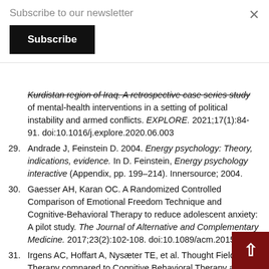Subscribe to our newsletter
Subscribe
Kurdistan region of Iraq. A retrospective case series study of mental-health interventions in a setting of political instability and armed conflicts. EXPLORE. 2021;17(1):84-91. doi:10.1016/j.explore.2020.06.003
29. Andrade J, Feinstein D. 2004. Energy psychology: Theory, indications, evidence. In D. Feinstein, Energy psychology interactive (Appendix, pp. 199–214). Innersource; 2004.
30. Gaesser AH, Karan OC. A Randomized Controlled Comparison of Emotional Freedom Technique and Cognitive-Behavioral Therapy to reduce adolescent anxiety: A pilot study. The Journal of Alternative and Complementary Medicine. 2017;23(2):102-108. doi:10.1089/acm.2015.0316
31. Irgens AC, Hoffart A, Nysæter TE, et al. Thought Field Therapy compared to Cognitive Behavioral Therapy and wait-list for agoraphobia: A randomized, controlled study